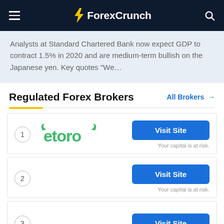ForexCrunch
Analysts at Standard Chartered Bank now expect GDP to contract 1.5% in 2020 and are medium-term bullish on the Japanese yen. Key quotes “We…
Regulated Forex Brokers
All Brokers →
1 eToro - Visit Site. Your capital is at risk.
2 - Visit Site. Your capital is at risk.
3 - Visit Site.